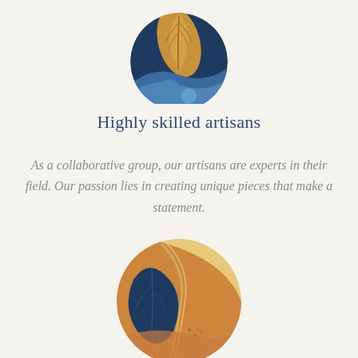[Figure (illustration): Circular illustration with dark navy background featuring golden/amber leaf shapes and blue wave/circle motifs, partially cropped at top]
Highly skilled artisans
As a collaborative group, our artisans are experts in their field. Our passion lies in creating unique pieces that make a statement.
[Figure (illustration): Circular illustration with warm sandy/amber tones featuring dark navy blue leaf/plant shapes, curved wave lines and small dot details]
Unique designs